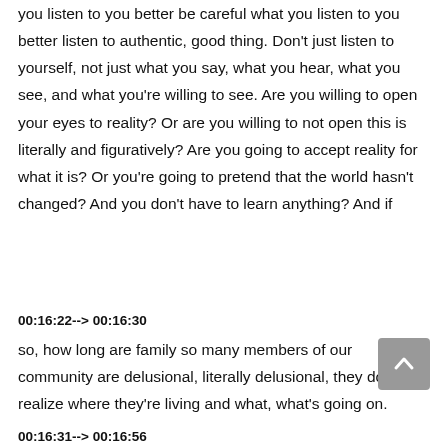you listen to you better be careful what you listen to you better listen to authentic, good thing. Don't just listen to yourself, not just what you say, what you hear, what you see, and what you're willing to see. Are you willing to open your eyes to reality? Or are you willing to not open this is literally and figuratively? Are you going to accept reality for what it is? Or you're going to pretend that the world hasn't changed? And you don't have to learn anything? And if
00:16:22--> 00:16:30
so, how long are family so many members of our community are delusional, literally delusional, they don't realize where they're living and what, what's going on.
00:16:31--> 00:16:56